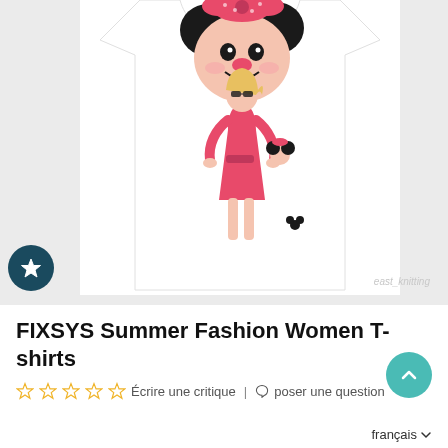[Figure (photo): White t-shirt product photo with a Minnie Mouse and stylish woman graphic printed on the front. The graphic shows Minnie Mouse in a pink polka-dot bow alongside a fashionably dressed woman in a pink outfit with sunglasses. A faint watermark reads 'east_knitrle' at bottom right.]
FIXSYS Summer Fashion Women T-shirts
☆☆☆☆☆ Écrire une critique | ⌂ poser une question
français